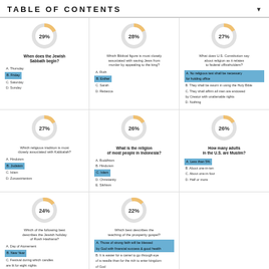TABLE OF CONTENTS
[Figure (donut-chart): Donut chart showing 29% correct]
When does the Jewish Sabbath begin?
A. Thursday
B. Friday (correct)
C. Saturday
D. Sunday
[Figure (donut-chart): Donut chart showing 28% correct]
Which Biblical figure is most closely associated with saving Jews from murder by appealing to the king?
A. Ruth
B. Esther (correct)
C. Sarah
D. Rebecca
[Figure (donut-chart): Donut chart showing 27% correct]
What does U.S. Constitution say about religion as it relates to federal officeholders?
A. No religious test shall be necessary for holding office (correct)
B. They shall be sworn in using the Holy Bible
C. They shall affirm all men are endowed by Creator with unalienable rights
D. Nothing
[Figure (donut-chart): Donut chart showing 27% correct]
Which religious tradition is most closely associated with Kabbalah?
A. Hinduism
B. Judaism (correct)
C. Islam
D. Zoroastrianism
[Figure (donut-chart): Donut chart showing 26% correct]
What is the religion of most people in Indonesia?
A. Buddhism
B. Hinduism
C. Islam (correct)
D. Christianity
E. Sikhism
[Figure (donut-chart): Donut chart showing 26% correct]
How many adults in the U.S. are Muslim?
A. Less than 5% (correct)
B. About one-in-ten
C. About one-in-four
D. Half or more
[Figure (donut-chart): Donut chart showing 24% correct]
Which of the following best describes the Jewish holiday of Rosh Hashana?
A. Day of Atonement
B. New Year (correct)
C. Festival during which candles are lit for eight nights
[Figure (donut-chart): Donut chart showing 22% correct]
Which best describes the teaching of the prosperity gospel?
A. Those of strong faith will be blessed by God with financial success & good health (correct)
B. It is easier for a camel to go through eye of a needle than for the rich to enter kingdom of God
C. To whom much is given, much is expected